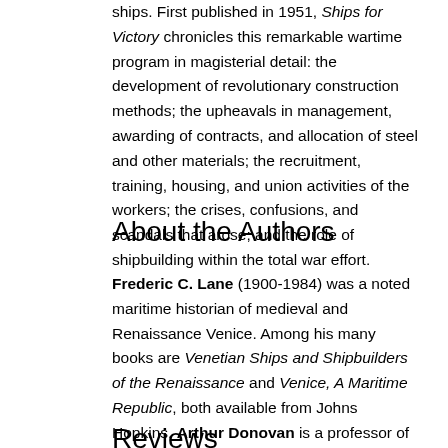ships. First published in 1951, Ships for Victory chronicles this remarkable wartime program in magisterial detail: the development of revolutionary construction methods; the upheavals in management, awarding of contracts, and allocation of steel and other materials; the recruitment, training, housing, and union activities of the workers; the crises, confusions, and scandals that arose; and the role of shipbuilding within the total war effort.
About the Authors
Frederic C. Lane (1900-1984) was a noted maritime historian of medieval and Renaissance Venice. Among his many books are Venetian Ships and Shipbuilders of the Renaissance and Venice, A Maritime Republic, both available from Johns Hopkins. Arthur Donovan is a professor of humanities at the U.S. Merchant Marine Academy.
Reviews